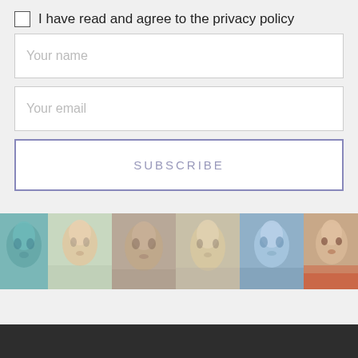I have read and agree to the privacy policy
Your name
Your email
SUBSCRIBE
[Figure (photo): A horizontal strip of six blurry portrait artworks showing faces in various styles and colors — teal, pastel, warm tones, blue-gray — partially cropped at left and right edges.]